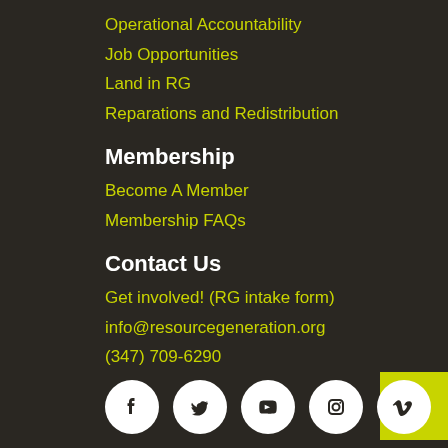Operational Accountability
Job Opportunities
Land in RG
Reparations and Redistribution
Membership
Become A Member
Membership FAQs
Contact Us
Get involved! (RG intake form)
info@resourcegeneration.org
(347) 709-6290
[Figure (infographic): Row of five social media icons (Facebook, Twitter, YouTube, Instagram, Vimeo) rendered as white circles with white logos on dark background]